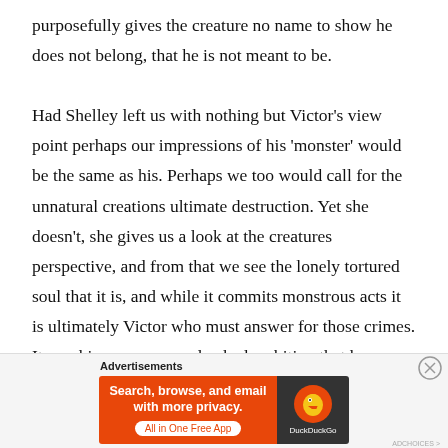purposefully gives the creature no name to show he does not belong, that he is not meant to be.

Had Shelley left us with nothing but Victor's view point perhaps our impressions of his 'monster' would be the same as his. Perhaps we too would call for the unnatural creations ultimate destruction. Yet she doesn't, she gives us a look at the creatures perspective, and from that we see the lonely tortured soul that it is, and while it commits monstrous acts it is ultimately Victor who must answer for those crimes. It was his arrogance and naked ambition that has created all of this.
[Figure (other): DuckDuckGo advertisement banner: 'Search, browse, and email with more privacy. All in One Free App' on orange background with DuckDuckGo logo on dark background.]